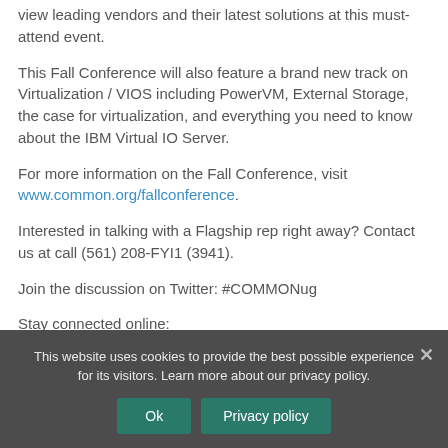view leading vendors and their latest solutions at this must-attend event.
This Fall Conference will also feature a brand new track on Virtualization / VIOS including PowerVM, External Storage, the case for virtualization, and everything you need to know about the IBM Virtual IO Server.
For more information on the Fall Conference, visit www.common.org/fallconference.
Interested in talking with a Flagship rep right away? Contact us at call (561) 208-FYI1 (3941).
Join the discussion on Twitter: #COMMONug
Stay connected online:
Facebook, Twitter, LinkedIn, YouTube
This website uses cookies to provide the best possible experience for its visitors. Learn more about our privacy policy.